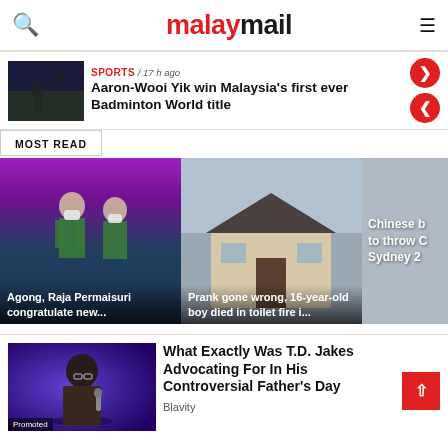malaymail
SPORTS / 17 h ago
Aaron-Wooi Yik win Malaysia's first ever Badminton World title
MOST READ
[Figure (photo): Two badminton players wearing masks with medals — Agong, Raja Permaisuri congratulate new...]
[Figure (photo): House exterior — Prank gone wrong, 16-year-old boy died in toilet fire i...]
[Figure (photo): Partially visible card — Chinese b... to throw C... Sydney 2...]
[Figure (photo): T.D. Jakes speaking with microphone on stage with purple lighting]
What Exactly Was T.D. Jakes Advocating For In His Controversial Father's Day
Blavity
Promoted